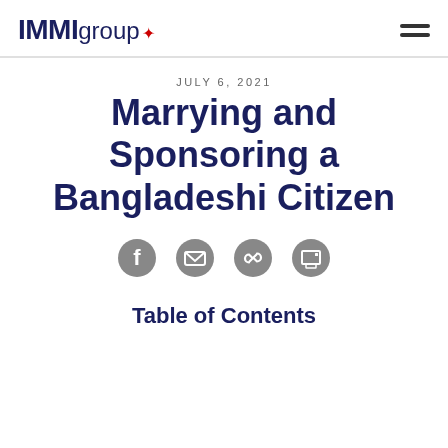IMMIgroup
JULY 6, 2021
Marrying and Sponsoring a Bangladeshi Citizen
[Figure (infographic): Social sharing icons: Facebook, Email, Link, Print]
Table of Contents